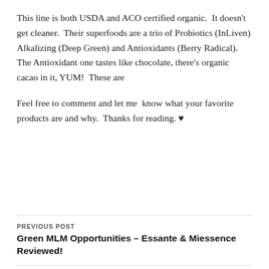This line is both USDA and ACO certified organic.  It doesn't get cleaner.  Their superfoods are a trio of Probiotics (InLiven) Alkalizing (Deep Green) and Antioxidants (Berry Radical).  The Antioxidant one tastes like chocolate, there's organic cacao in it, YUM!  These are
Feel free to comment and let me  know what your favorite products are and why.  Thanks for reading. ♥
PREVIOUS POST
Green MLM Opportunities – Essante & Miessence Reviewed!
NEXT POST
PurePet CANINE BLOAT – GD & GDV Explained